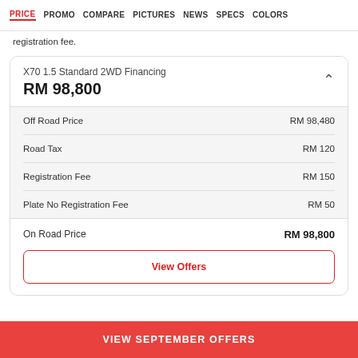PRICE  PROMO  COMPARE  PICTURES  NEWS  SPECS  COLORS
registration fee.
|  |  |
| --- | --- |
| X70 1.5 Standard 2WD Financing |  |
| RM 98,800 |  |
| Off Road Price | RM 98,480 |
| Road Tax | RM 120 |
| Registration Fee | RM 150 |
| Plate No Registration Fee | RM 50 |
| On Road Price | RM 98,800 |
View Offers
VIEW SEPTEMBER OFFERS